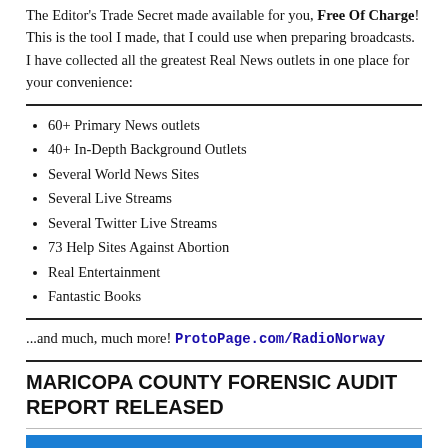The Editor's Trade Secret made available for you, Free Of Charge! This is the tool I made, that I could use when preparing broadcasts. I have collected all the greatest Real News outlets in one place for your convenience:
60+ Primary News outlets
40+ In-Depth Background Outlets
Several World News Sites
Several Live Streams
Several Twitter Live Streams
73 Help Sites Against Abortion
Real Entertainment
Fantastic Books
...and much, much more! ProtoPage.com/RadioNorway
MARICOPA COUNTY FORENSIC AUDIT REPORT RELEASED